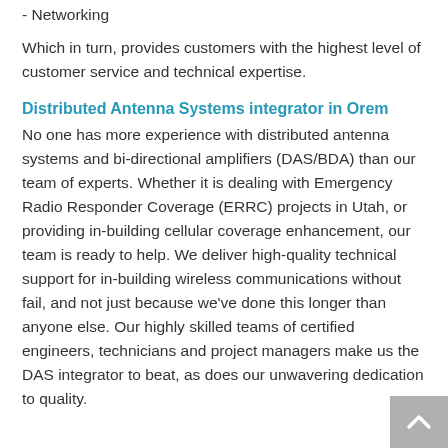- Networking
Which in turn, provides customers with the highest level of customer service and technical expertise.
Distributed Antenna Systems integrator in Orem
No one has more experience with distributed antenna systems and bi-directional amplifiers (DAS/BDA) than our team of experts. Whether it is dealing with Emergency Radio Responder Coverage (ERRC) projects in Utah, or providing in-building cellular coverage enhancement, our team is ready to help. We deliver high-quality technical support for in-building wireless communications without fail, and not just because we've done this longer than anyone else. Our highly skilled teams of certified engineers, technicians and project managers make us the DAS integrator to beat, as does our unwavering dedication to quality.